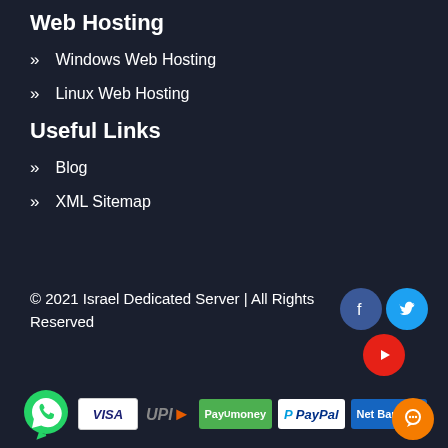Web Hosting
Windows Web Hosting
Linux Web Hosting
Useful Links
Blog
XML Sitemap
© 2021 Israel Dedicated Server | All Rights Reserved
[Figure (logo): Social media icons: Facebook (blue circle), Twitter (light blue circle), YouTube (red circle)]
[Figure (logo): Payment icons: WhatsApp, Visa, UPI, PayUmoney, PayPal, Net Banking]